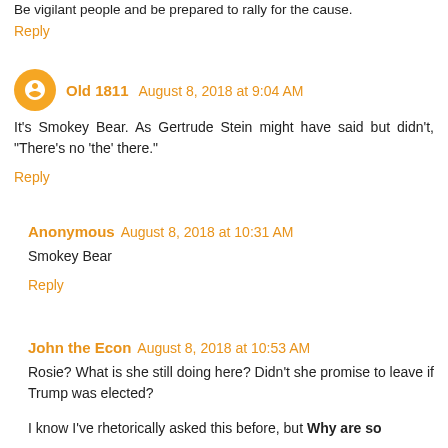Be vigilant people and be prepared to rally for the cause.
Reply
Old 1811  August 8, 2018 at 9:04 AM
It's Smokey Bear. As Gertrude Stein might have said but didn't, "There's no 'the' there."
Reply
Anonymous  August 8, 2018 at 10:31 AM
Smokey Bear
Reply
John the Econ  August 8, 2018 at 10:53 AM
Rosie? What is she still doing here? Didn't she promise to leave if Trump was elected?
I know I've rhetorically asked this before, but Why are so